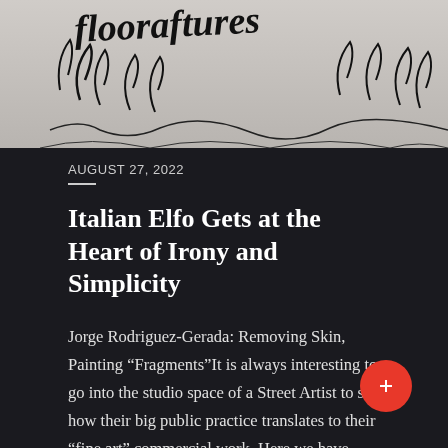[Figure (photo): Black and white photograph showing handwritten graffiti text and plant-like line drawings, partially cropped at top]
AUGUST 27, 2022
Italian Elfo Gets at the Heart of Irony and Simplicity
Jorge Rodriguez-Gerada: Removing Skin, Painting “Fragments”It is always interesting to go into the studio space of a Street Artist to see how their big public practice translates to their “fine art” commercial work. Here we have new works from a figurative p…